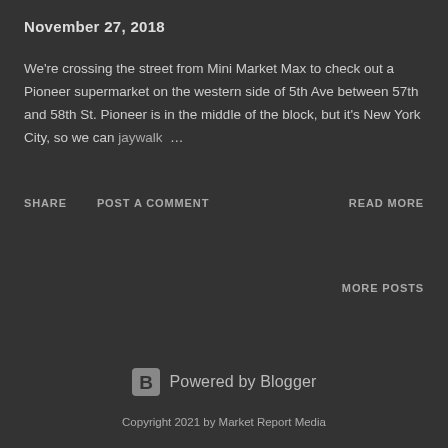November 27, 2018
We're crossing the street from Mini Market Max to check out a Pioneer supermarket on the western side of 5th Ave between 57th and 58th St. Pioneer is in the middle of the block, but it's New York City, so we can jaywalk …
SHARE   POST A COMMENT   READ MORE
MORE POSTS
Powered by Blogger
Copyright 2021 by Market Report Media